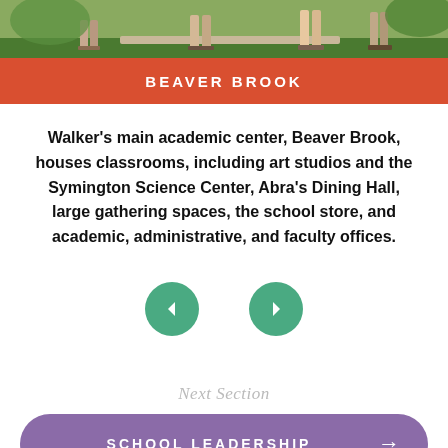[Figure (photo): Outdoor photo strip showing people walking on a path with green grass and trees, cropped to show legs and feet from the waist down.]
BEAVER BROOK
Walker's main academic center, Beaver Brook, houses classrooms, including art studios and the Symington Science Center, Abra's Dining Hall, large gathering spaces, the school store, and academic, administrative, and faculty offices.
[Figure (infographic): Two green circular navigation buttons — a left arrow and a right arrow — for navigating a slideshow or carousel.]
Next Section
SCHOOL LEADERSHIP